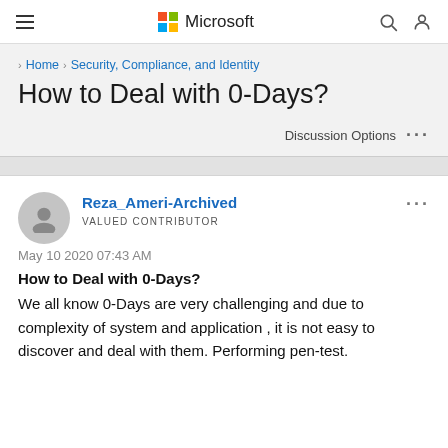Microsoft
Home > Security, Compliance, and Identity
How to Deal with 0-Days?
Discussion Options ...
Reza_Ameri-Archived
VALUED CONTRIBUTOR
May 10 2020 07:43 AM
How to Deal with 0-Days?
We all know 0-Days are very challenging and due to complexity of system and application , it is not easy to discover and deal with them. Performing pen-test.